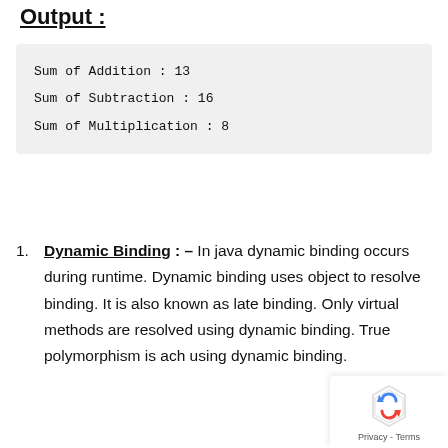Output :
Sum of Addition : 13
Sum of Subtraction : 16
Sum of Multiplication : 8
Dynamic Binding : – In java dynamic binding occurs during runtime. Dynamic binding uses object to resolve binding. It is also known as late binding. Only virtual methods are resolved using dynamic binding. True polymorphism is achieved using dynamic binding.